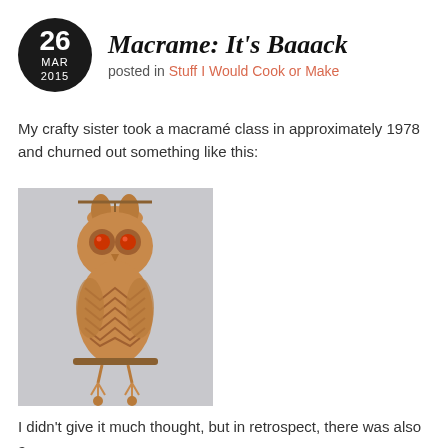Macrame: It's Baaack
posted in Stuff I Would Cook or Make
My crafty sister took a macramé class in approximately 1978 and churned out something like this:
[Figure (photo): A macramé owl craft piece made of tan/brown knotted rope, with red bead eyes, perched on a small wooden branch, against a light gray background.]
I didn't give it much thought, but in retrospect, there was also a